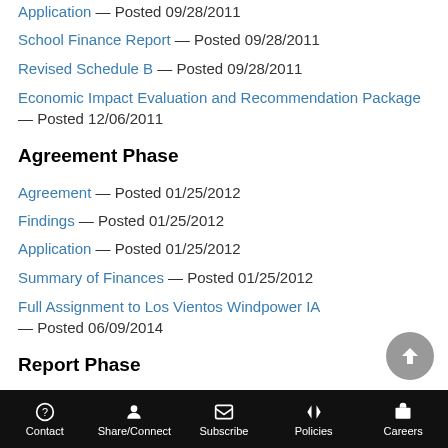Application — Posted 09/28/2011
School Finance Report — Posted 09/28/2011
Revised Schedule B — Posted 09/28/2011
Economic Impact Evaluation and Recommendation Package — Posted 12/06/2011
Agreement Phase
Agreement — Posted 01/25/2012
Findings — Posted 01/25/2012
Application — Posted 01/25/2012
Summary of Finances — Posted 01/25/2012
Full Assignment to Los Vientos Windpower IA — Posted 06/09/2014
Report Phase
Contact | Share/Connect | Subscribe | Policies | Careers